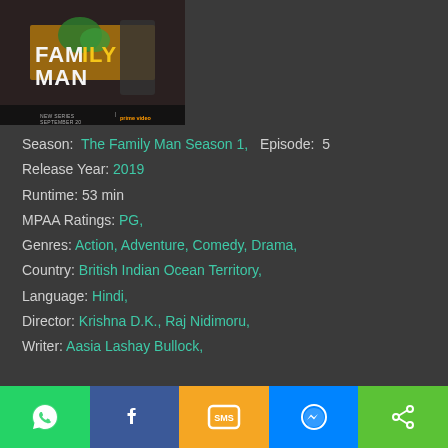[Figure (photo): Movie poster for The Family Man (Amazon Prime Video). Shows stylized text 'FAMILY MAN' with figures, 'NEW SERIES SEPTEMBER 20 | prime video' text at bottom.]
Season:  The Family Man Season 1,  Episode:  5
Release Year: 2019
Runtime: 53 min
MPAA Ratings: PG,
Genres: Action, Adventure, Comedy, Drama,
Country: British Indian Ocean Territory,
Language: Hindi,
Director: Krishna D.K., Raj Nidimoru,
Writer: Aasia Lashay Bullock,
[Figure (infographic): Share bar with 5 buttons: WhatsApp (green), Facebook (blue), SMS (yellow/orange), Messenger (blue), Share (green)]